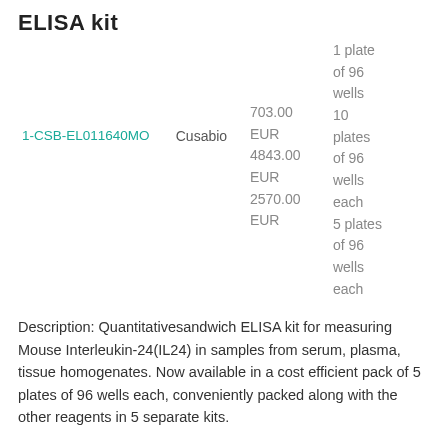ELISA kit
| ID | Supplier | Price | Size |
| --- | --- | --- | --- |
| 1-CSB-EL011640MO | Cusabio | 703.00 EUR
4843.00 EUR
2570.00 EUR | 1 plate of 96 wells
10 plates of 96 wells each
5 plates of 96 wells each |
Description: Quantitativesandwich ELISA kit for measuring Mouse Interleukin-24(IL24) in samples from serum, plasma, tissue homogenates. Now available in a cost efficient pack of 5 plates of 96 wells each, conveniently packed along with the other reagents in 5 separate kits.